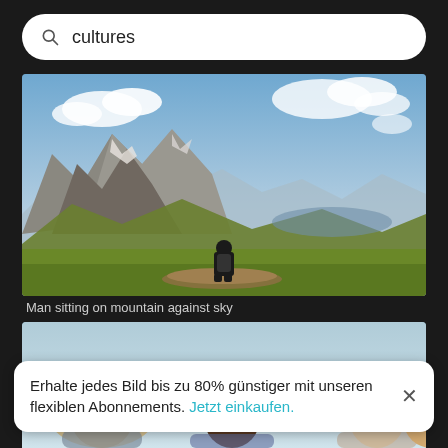cultures
[Figure (photo): Person sitting on a log on a mountain alpine meadow looking out over a vast valley with distant mountains and blue sky with clouds]
Man sitting on mountain against sky
[Figure (photo): Group of people from behind wearing various hats (straw hat, bucket hat, cap) against a pale blue sky background]
Erhalte jedes Bild bis zu 80% günstiger mit unseren flexiblen Abonnements. Jetzt einkaufen.